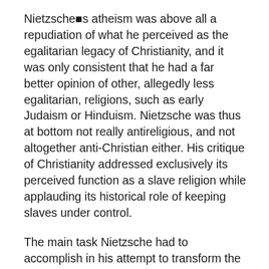Nietzsche�s atheism was above all a repudiation of what he perceived as the egalitarian legacy of Christianity, and it was only consistent that he had a far better opinion of other, allegedly less egalitarian, religions, such as early Judaism or Hinduism. Nietzsche was thus at bottom not really antireligious, and not altogether anti-Christian either. His critique of Christianity addressed exclusively its perceived function as a slave religion while applauding its historical role of keeping slaves under control.
The main task Nietzsche had to accomplish in his attempt to transform the nature of revolutionary atheism was to do away with its deep-seated humanistic optimism, and install in its place a pessimistic, tragic, and conservative mode of secularization. The event of God�s death was hence described, at least in part, as inaugurating a dismal epoch of existential human solitude. This pessimistic, tragic approach to God�s death is most eloquently expressed in the renowned passage in which the madman runs into the marketplace and seeks God with his lantern. Here we 2nd